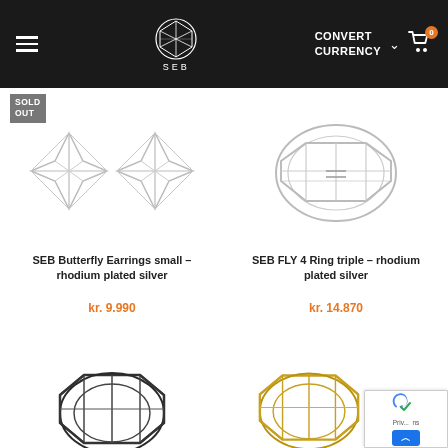SEB — CONVERT CURRENCY
SOLD OUT
[Figure (photo): SEB Butterfly Earrings small, rhodium plated silver — two geometric star/butterfly shaped sterling silver earrings on white background]
SEB Butterfly Earrings small – rhodium plated silver
kr. 9.990
[Figure (photo): SEB FLY 4 Ring triple, rhodium plated silver — geometric angular ring with lattice/framework structure on white background]
SEB FLY 4 Ring triple – rhodium plated silver
kr. 14.870
[Figure (photo): Dark/black geometric lattice ring, partially visible at bottom of page]
[Figure (photo): Gold/yellow geometric lattice ring, partially visible at bottom of page]